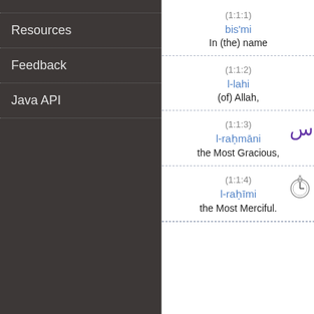Resources
Feedback
Java API
(1:1:1)
bis'mi
In (the) name
(1:1:2)
l-lahi
(of) Allah,
(1:1:3)
l-rahmani
the Most Gracious,
(1:1:4)
l-rahimi
the Most Merciful.